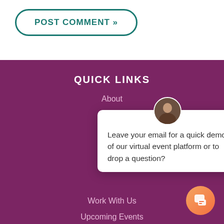[Figure (other): POST COMMENT button with rounded border in teal color]
QUICK LINKS
About
Blog
The
[Figure (other): Chat popup with avatar photo and message: Leave your email for a quick demo of our virtual event platform or to drop a question?]
Work With Us
Upcoming Events
Government Capabilities Statement